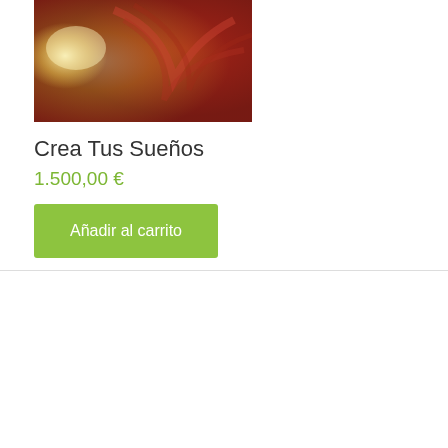[Figure (photo): Product photo with warm reddish-orange tones, appears to be an abstract or lifestyle image with light flare effects]
Crea Tus Sueños
1.500,00 €
Añadir al carrito
We use cookies on our website to give you the most relevant experience by remembering your preferences and repeat visits. By clicking "Accept All", you consent to the use of ALL the cookies. However, you may visit "Cookie Settings" to provide a controlled consent.
Cookie Settings
Accept All